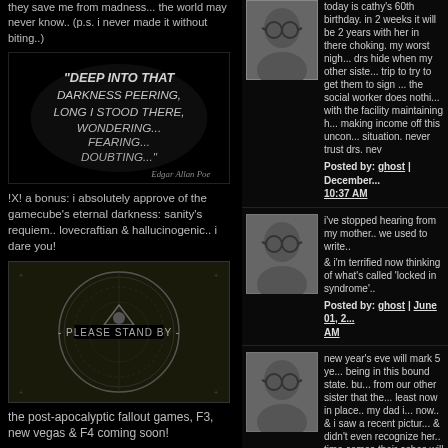they save me from madness... the world may never know.. (p.s. i never made it without biting..)
[Figure (illustration): Dark image with text: 'Deep into that darkness peering, long I stood there, wondering... fearing... doubting...' - Edgar Allan Poe]
!X! a bonus: i absolutely approve of the gamecube's eternal darkness: sanity's requiem.. lovecraftian & hallucinogenic.. i dare you!
[Figure (screenshot): Fallout 'Please Stand By' test screen image, dark with circular logo]
the post-apocalyptic fallout games, F3, new vegas & F4 coming soon!
[Figure (photo): Dark reddish image with text: 'A different sin downweighs them to th']
today is cathy's 60th birthday. in 2 weeks it will be 2 years with her in there choking. my worst nightmare. drs hide when my other sister makes a trip to try to get them to sign papers. the social worker does nothing along with the facility maintaining her.. making income off this unconscionable situation. never trust drs. nev
Posted by: ghost | December ... 10:37 AM
i've stopped hearing from my mother.. we used to write..
& i'm terrified now thinking of what's called 'locked in syndrome'..
Posted by: ghost | June 01, 2... AM
new year's eve will mark 5 years being in this bound state. but heard from our other sister that there is at least now in place.. my dad is gone now.. & i saw a recent picture of her & didn't even recognize her.. when time comes their ashes will all go together to ravenwood..